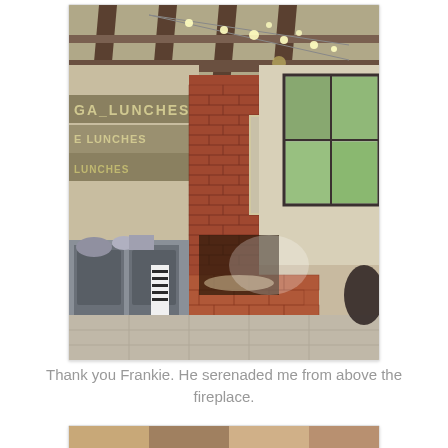[Figure (photo): Interior photo of a restaurant or event space with exposed brick fireplace, decorative string lights on ceiling with wooden beams, a portrait painting of a man (Frankie) mounted above the fireplace, large windows, metal kitchen equipment on the left, and striped chairs visible.]
Thank you Frankie. He serenaded me from above the fireplace.
[Figure (photo): Partial view of another interior photo, cropped at bottom of page.]